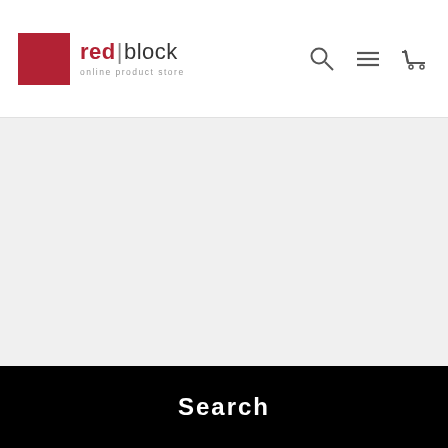red|block online product store
[Figure (screenshot): Large empty gray content area below header]
Search